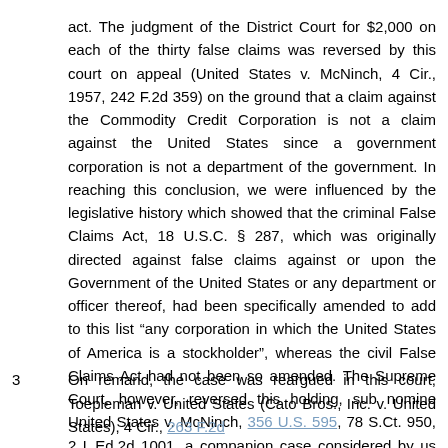act. The judgment of the District Court for $2,000 on each of the thirty false claims was reversed by this court on appeal (United States v. McNinch, 4 Cir., 1957, 242 F.2d 359) on the ground that a claim against the Commodity Credit Corporation is not a claim against the United States since a government corporation is not a department of the government. In reaching this conclusion, we were influenced by the legislative history which showed that the criminal False Claims Act, 18 U.S.C. § 287, which was originally directed against false claims against or upon the Government of the United States or any department or officer thereof, had been specifically amended to add to this list "any corporation in which the United States of America is a stockholder", whereas the civil False Claims Act had not been so amended. The Supreme Court, however, reversed this holding, sub nomine United States v. McNinch, 356 U.S. 595, 78 S.Ct. 950, 2 L.Ed.2d 1001, a companion case considered by us together with the case at bar. The Supreme Court held that a claim against the Commodity Credit Corporation is a claim against the Government of the United States or any department or officer thereof within the meaning of the provisions of the civil False Claims Act.
3   On remand, the case was reargued in this court, Toepleman v. United States (Cato Bros., Inc. v. United States), 4 Cir., 263 F.2d